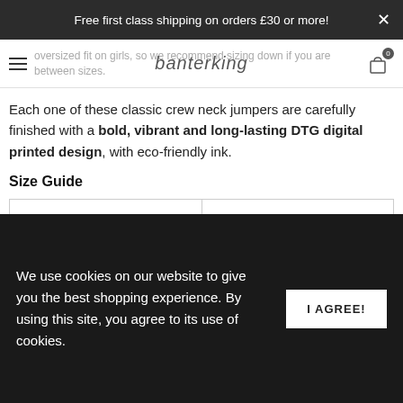Free first class shipping on orders £30 or more!
banterking
oversized fit on girls, so we recommend sizing down if you are between sizes.
Each one of these classic crew neck jumpers are carefully finished with a bold, vibrant and long-lasting DTG digital printed design, with eco-friendly ink.
Size Guide
| Size | Chest (Inches) |
| --- | --- |
| Small | 34/36 |
|  |  |
We use cookies on our website to give you the best shopping experience. By using this site, you agree to its use of cookies.